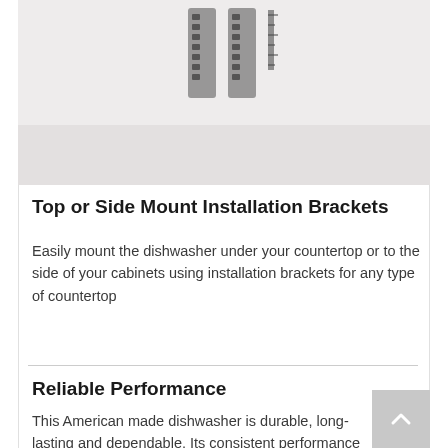[Figure (photo): Product photo of dishwasher installation brackets on a light gray background. Two metallic bracket pieces are visible at the top of the image area.]
Top or Side Mount Installation Brackets
Easily mount the dishwasher under your countertop or to the side of your cabinets using installation brackets for any type of countertop
Reliable Performance
This American made dishwasher is durable, long-lasting and dependable. Its consistent performance